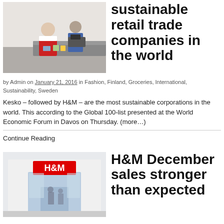[Figure (photo): Person in red vest at a grocery checkout counter]
sustainable retail trade companies in the world
by Admin on January 21, 2016 in Fashion, Finland, Groceries, International, Sustainability, Sweden
Kesko – followed by H&M – are the most sustainable corporations in the world. This according to the Global 100-list presented at the World Economic Forum in Davos on Thursday. (more…)
Continue Reading
[Figure (photo): H&M store front with glass facade]
H&M December sales stronger than expected